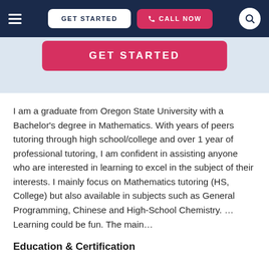GET STARTED  CALL NOW
[Figure (screenshot): Pink GET STARTED button banner below the navigation bar]
I am a graduate from Oregon State University with a Bachelor's degree in Mathematics. With years of peers tutoring through high school/college and over 1 year of professional tutoring, I am confident in assisting anyone who are interested in learning to excel in the subject of their interests. I mainly focus on Mathematics tutoring (HS, College) but also available in subjects such as General Programming, Chinese and High-School Chemistry. … Learning could be fun. The main…
Education & Certification